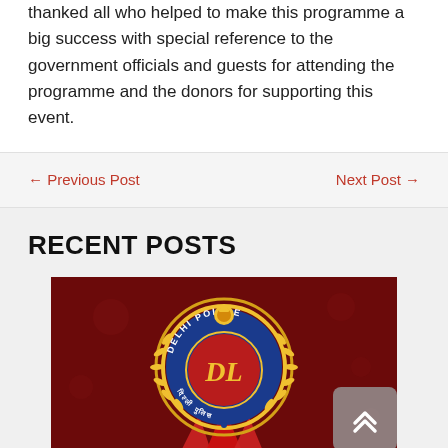thanked all who helped to make this programme a big success with special reference to the government officials and guests for attending the programme and the donors for supporting this event.
← Previous Post
Next Post →
RECENT POSTS
[Figure (logo): Delhi Police official logo/emblem on a dark red background with gold laurel wreath, Ashoka emblem at top, and red flame/star design at bottom. The circular badge reads 'DELHI POLICE' and shows 'DL' monogram in center.]